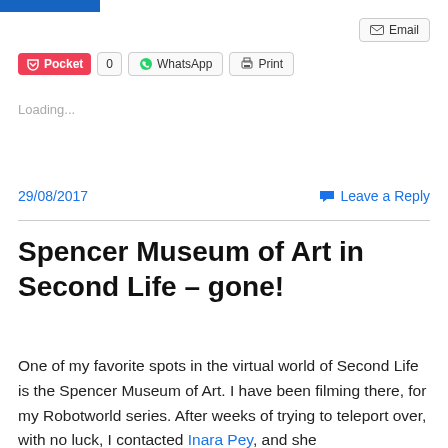[Figure (other): Social sharing toolbar with Email button (top right), Pocket, count badge 0, WhatsApp, and Print buttons]
Loading...
29/08/2017
Leave a Reply
Spencer Museum of Art in Second Life – gone!
One of my favorite spots in the virtual world of Second Life is the Spencer Museum of Art. I have been filming there, for my Robotworld series. After weeks of trying to teleport over, with no luck, I contacted Inara Pey, and she